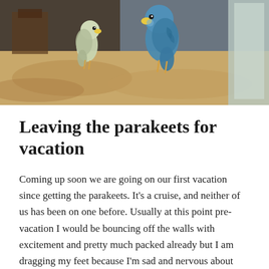[Figure (photo): Two parakeets (budgerigars) perched on a brown fabric surface. One is blue-green and one is lighter colored, viewed in an indoor setting.]
Leaving the parakeets for vacation
Coming up soon we are going on our first vacation since getting the parakeets. It's a cruise, and neither of us has been on one before. Usually at this point pre-vacation I would be bouncing off the walls with excitement and pretty much packed already but I am dragging my feet because I'm sad and nervous about leaving the “babies” behind.
I've seen a few alarming Yahoo questions where